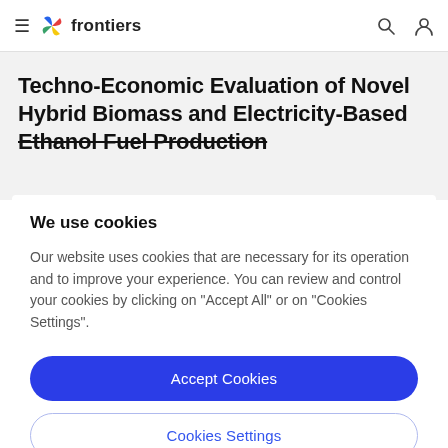≡ frontiers
Techno-Economic Evaluation of Novel Hybrid Biomass and Electricity-Based Ethanol Fuel Production
We use cookies
Our website uses cookies that are necessary for its operation and to improve your experience. You can review and control your cookies by clicking on "Accept All" or on "Cookies Settings".
Accept Cookies
Cookies Settings